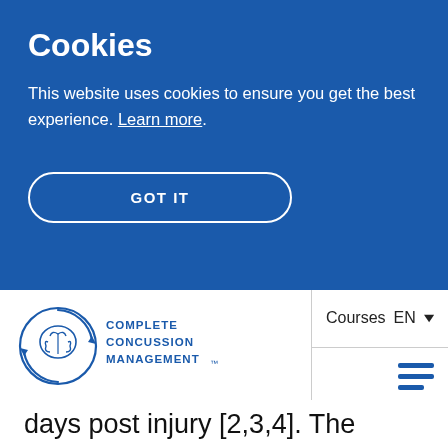Cookies
This website uses cookies to ensure you get the best experience. Learn more.
GOT IT
[Figure (logo): Complete Concussion Management logo with brain icon and circular arrows]
Courses  EN
days post injury [2,3,4]. The biggest risk is that most people will generally feel better between 7 to 10 days and the brain remains highly vulnerable until energy levels have been fully restored. As such it is important to ensure full...